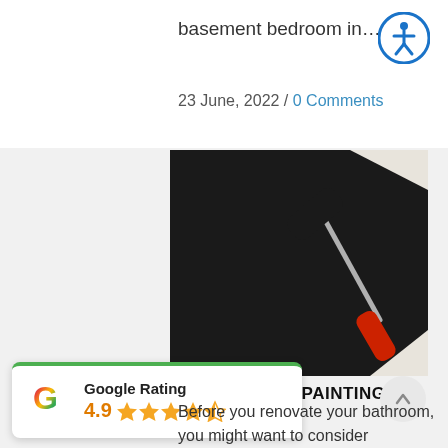basement bedroom in...
23 June, 2022 / 0 Comments
[Figure (photo): A paint roller with a red handle applying black paint on a white surface, viewed from above.]
CONSIDER REPAINTING INSTEAD
[Figure (infographic): Google Rating widget showing 4.9 stars out of 5, with the Google G logo and green top border.]
Before you renovate your bathroom, you might want to consider